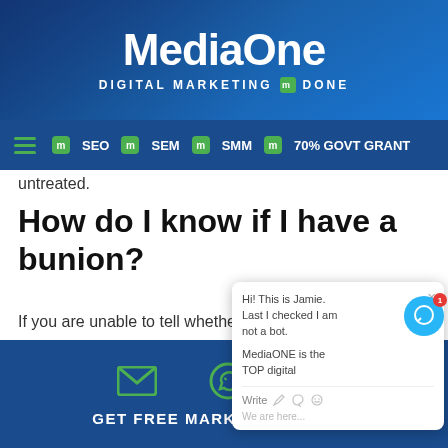MediaOne — DIGITAL MARKETING DONE
SEO | SEM | SMM | 70% GOVT GRANT
untreated.
How do I know if I have a bunion?
If you are unable to tell whether you have bunions, here are some telltale signs:
Bulging bump on the outside base of big toe
Swelling, redness or soreness around
GET FREE MARKETING QUOTE